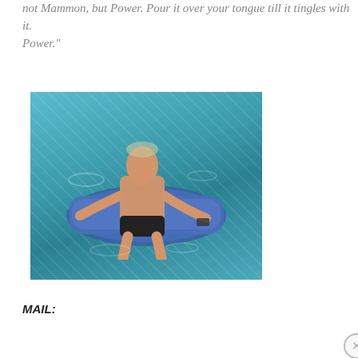not Mammon, but Power. Pour it over your tongue till it tingles with it. Power."
[Figure (photo): A shirtless man floating on a blue inflatable pool raft in a swimming pool, viewed from above at an angle. He is wearing dark swim trunks and appears to be reclining with his head back.]
MAIL:
Privacy & Cookies: This site uses cookies. By continuing to use this website, you agree to their use.
To find out more, including how to control cookies, see here: Cookie Policy